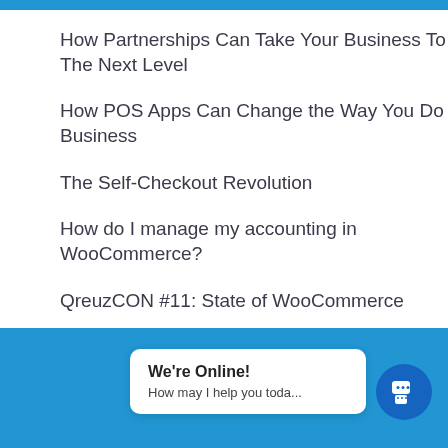How Partnerships Can Take Your Business To The Next Level
How POS Apps Can Change the Way You Do Business
The Self-Checkout Revolution
How do I manage my accounting in WooCommerce?
QreuzCON #11: State of WooCommerce
We're Online! How may I help you toda...